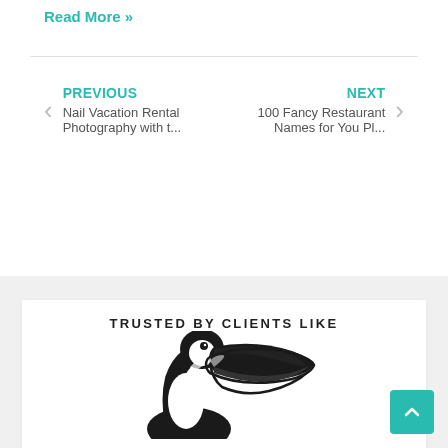Read More »
PREVIOUS
Nail Vacation Rental Photography with t...
NEXT
100 Fancy Restaurant Names for You Pl...
TRUSTED BY CLIENTS LIKE
[Figure (illustration): Black and white illustration of a toucan bird head and beak, partially cropped at the bottom of the page.]